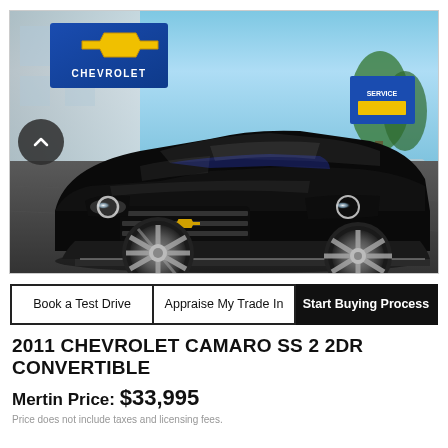[Figure (photo): Black 2011 Chevrolet Camaro SS convertible parked in front of a Chevrolet dealership with blue signage and a Chevrolet bowtie logo sign. The car faces front-left angle showing the grille and headlights.]
Book a Test Drive
Appraise My Trade In
Start Buying Process
2011 CHEVROLET CAMARO SS 2 2DR CONVERTIBLE
Mertin Price: $33,995
Price does not include taxes and licensing fees.